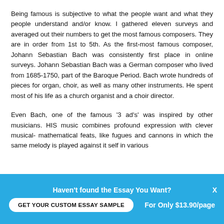Being famous is subjective to what the people want and what they people understand and/or know. I gathered eleven surveys and averaged out their numbers to get the most famous composers. They are in order from 1st to 5th. As the first-most famous composer, Johann Sebastian Bach was consistently first place in online surveys. Johann Sebastian Bach was a German composer who lived from 1685-1750, part of the Baroque Period. Bach wrote hundreds of pieces for organ, choir, as well as many other instruments. He spent most of his life as a church organist and a choir director.
Even Bach, one of the famous '3 ad's' was inspired by other musicians. HIS music combines profound expression with clever musical- mathematical feats, like fugues and cannons in which the same melody is played against it self in various [cut off]
Haven't found the Essay You Want? GET YOUR CUSTOM ESSAY SAMPLE For Only $13.90/page